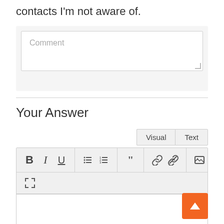contacts I'm not aware of.
[Figure (screenshot): Comment textarea input box with placeholder text 'Comment' and resize handle]
Your Answer
[Figure (screenshot): Rich text editor toolbar with Visual/Text tabs and formatting buttons: Bold, Italic, Underline, ordered list, unordered list, blockquote, link, unlink, image, fullscreen. Editor content area below.]
[Figure (other): Orange back-to-top button with upward arrow]